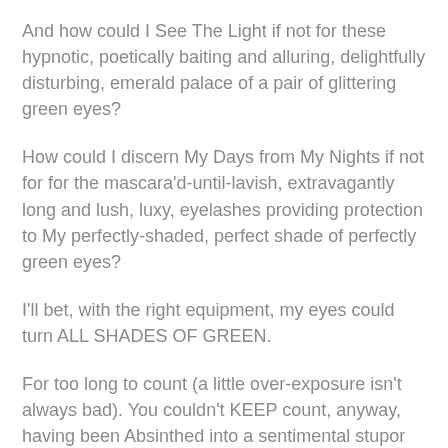And how could I See The Light if not for these hypnotic, poetically baiting and alluring, delightfully disturbing, emerald palace of a pair of glittering green eyes?
How could I discern My Days from My Nights if not for for the mascara'd-until-lavish, extravagantly long and lush, luxy, eyelashes providing protection to My perfectly-shaded, perfect shade of perfectly green eyes?
I'll bet, with the right equipment, my eyes could turn ALL SHADES OF GREEN.
For too long to count (a little over-exposure isn't always bad). You couldn't KEEP count, anyway, having been Absinthed into a sentimental stupor by the little fogs of gray around my retinas. They've been known to harm and disarm!